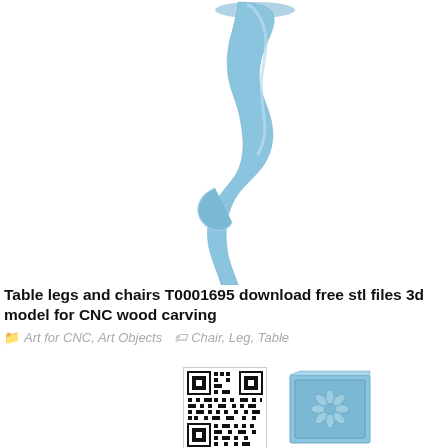[Figure (illustration): 3D render of an ornate curved table/chair leg with decorative scrollwork, rendered in light blue, shown on white background]
Table legs and chairs T0001695 download free stl files 3d model for CNC wood carving
Art for CNC, Art Objects   Chair, Leg, Table
[Figure (other): QR code]
[Figure (illustration): 3D render of a small rectangular decorative panel with floral/daisy carving design, rendered in light blue]